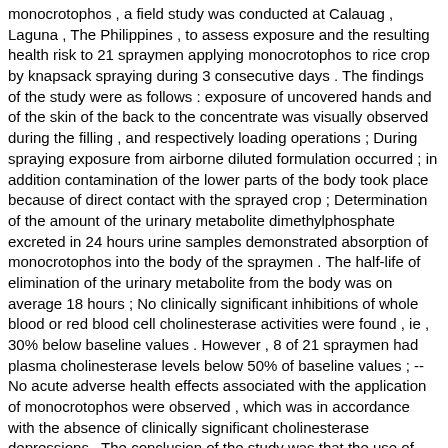monocrotophos , a field study was conducted at Calauag , Laguna , The Philippines , to assess exposure and the resulting health risk to 21 spraymen applying monocrotophos to rice crop by knapsack spraying during 3 consecutive days . The findings of the study were as follows : exposure of uncovered hands and of the skin of the back to the concentrate was visually observed during the filling , and respectively loading operations ; During spraying exposure from airborne diluted formulation occurred ; in addition contamination of the lower parts of the body took place because of direct contact with the sprayed crop ; Determination of the amount of the urinary metabolite dimethylphosphate excreted in 24 hours urine samples demonstrated absorption of monocrotophos into the body of the spraymen . The half-life of elimination of the urinary metabolite from the body was on average 18 hours ; No clinically significant inhibitions of whole blood or red blood cell cholinesterase activities were found , ie , 30% below baseline values . However , 8 of 21 spraymen had plasma cholinesterase levels below 50% of baseline values ; --No acute adverse health effects associated with the application of monocrotophos were observed , which was in accordance with the absence of clinically significant cholinesterase depressions . The conclusion of the study was that the use of monocrotophos under prevailing typical conditions in the Philippines , which varies from a frequency of one application per season to a maximum of 3 applications each on 3 consecutive days per week , and where label safety instructions are not necessarily observed , is not expected to pose an acute health risk under the prevailing conditions and practices , which includes filling , spraying and cleaning activities . From the experience in this study it is clear that proper spraying technique and adequate use of personal protection will significantly reduce exposure . As such a reduction is highly recommendable , advice on proper spray procedures and adequate personal protection has been reinforced